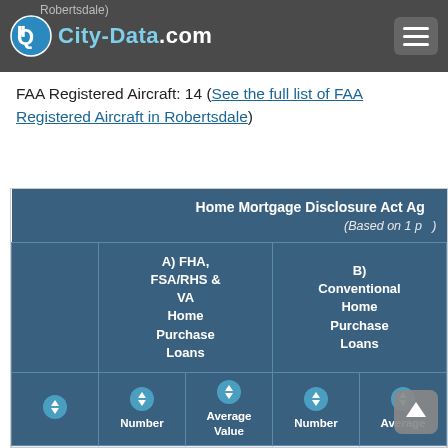City-Data.com
FAA Registered Aircraft: 14 (See the full list of FAA Registered Aircraft in Robertsdale)
|  | A) FHA, FSA/RHS & VA Home Purchase Loans — Number | A) FHA, FSA/RHS & VA Home Purchase Loans — Average Value | B) Conventional Home Purchase Loans — Number | B) Conventional Home Purchase Loans — Average |
| --- | --- | --- | --- | --- |
| LOANS ORIGINATED | 5 | $95,354 | 14 | $84,000 |